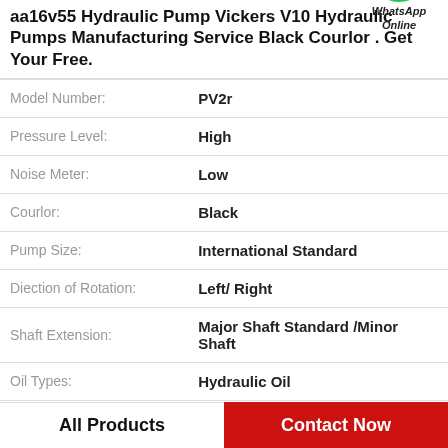aa16v55 Hydraulic Pump Vickers V10 Hydraulic Pumps Manufacturing Service Black Courlor . Get Your Free.
| Property | Value |
| --- | --- |
| Model Number: | PV2r |
| Pressure Level: | High |
| Noise Meter: | Low |
| Courlor: | Black |
| Pump Size: | International Standard |
| Diection of Rotation: | Left/ Right |
| Shaft Extension: | Major Shaft Standard /Minor Shaft |
| Oil Types: | Hydraulic Oil |
| OEM: |  |
[Figure (logo): WhatsApp Online green phone icon button]
All Products
Contact Now